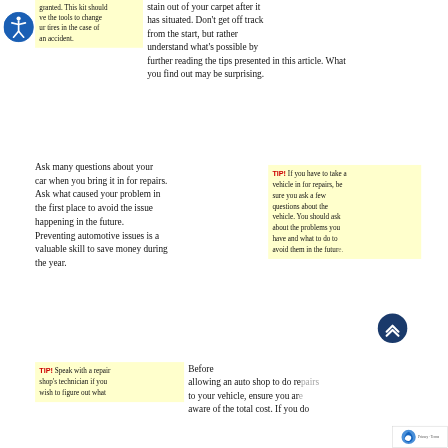granted. This kit should ve the tools to change ur tires in the case of an accident.
[Figure (illustration): Blue accessibility icon showing a person figure in a circle]
stain out of your carpet after it has situated. Don’t get off track from the start, but rather understand what’s possible by further reading the tips presented in this article. What you find out may be surprising.
Ask many questions about your car when you bring it in for repairs. Ask what caused your problem in the first place to avoid the issue happening in the future. Preventing automotive issues is a valuable skill to save money during the year.
TIP! If you have to take a vehicle in for repairs, be sure you ask a few questions about the vehicle. You should ask about the problems you have and what to do to avoid them in the future.
[Figure (illustration): Dark blue circle with upward double chevron arrow]
TIP! Speak with a repair shop’s technician if you wish to figure out what kind of car problems you...
Before allowing an auto shop to do repairs to your vehicle, ensure you are aware of the total cost. If you do